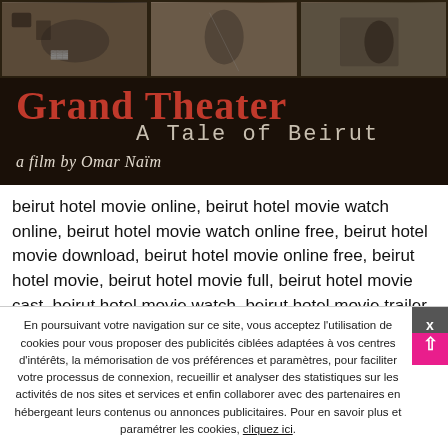[Figure (illustration): Movie poster for 'Grand Theater: A Tale of Beirut, a film by Omar Naïm'. Dark background with vintage film strip images at top, large red title text and cream/grey subtitle and director credit.]
beirut hotel movie online, beirut hotel movie watch online, beirut hotel movie watch online free, beirut hotel movie download, beirut hotel movie online free, beirut hotel movie, beirut hotel movie full, beirut hotel movie cast, beirut hotel movie watch, beirut hotel movie trailer, beirut hotel movie hd    Beirut Hotel Full Movie Free Download ➡ ➡ ➡ DOWNLOAD   ...
En poursuivant votre navigation sur ce site, vous acceptez l'utilisation de cookies pour vous proposer des publicités ciblées adaptées à vos centres d'intérêts, la mémorisation de vos préférences et paramètres, pour faciliter votre processus de connexion, recueillir et analyser des statistiques sur les activités de nos sites et services et enfin collaborer avec des partenaires en hébergeant leurs contenus ou annonces publicitaires. Pour en savoir plus et paramétrer les cookies, cliquez ici.